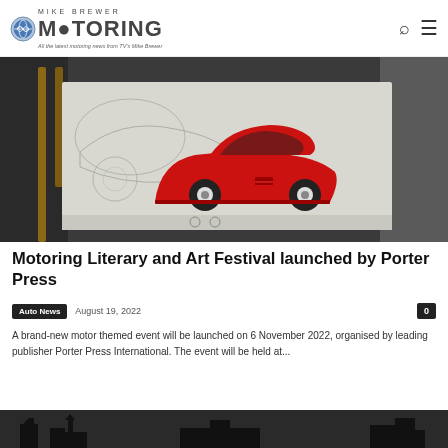Mike Brewer Motoring — All the latest motoring news from TV's Mike Brewer
[Figure (photo): A red Ferrari 250 GTO illustration/artwork on an easel, with pencil sketch visible in background]
Motoring Literary and Art Festival launched by Porter Press
Auto News  August 19, 2022  0
A brand-new motor themed event will be launched on 6 November 2022, organised by leading publisher Porter Press International. The event will be held at...
[Figure (photo): Second article image — dark cityscape or building silhouette]